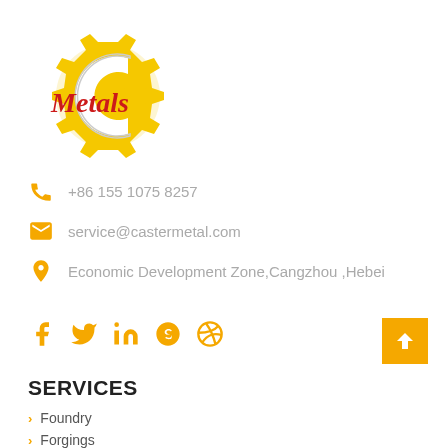[Figure (logo): Caster Metals logo: yellow gear/cog shape with a C cutout, and red italic 'Metals' text inside]
+86 155 1075 8257
service@castermetal.com
Economic Development Zone,Cangzhou ,Hebei
[Figure (infographic): Row of social media icons (Facebook, Twitter, LinkedIn, Skype, Dribbble) in yellow/gold color]
[Figure (other): Yellow square back-to-top button with white upward arrow]
SERVICES
Foundry
Forgings